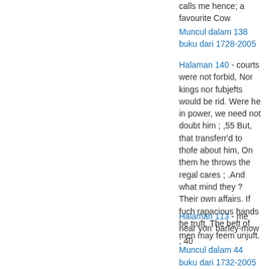calls me hence; a favourite Cow
Muncul dalam 138 buku dari 1728-2005
Halaman 140 - courts were not forbid, Nor kings nor fubjefts would be rid. Were he in power, we need not doubt him ; ,55 But, that transferr'd to thofe about him, On them he throws the regal cares ; .And what mind they ? Their own affairs. If fuch rapacious hands he truft, The beft of men may feem unjuft.
Muncul dalam 44 buku dari 1732-2005
Halaman 113 - me near yon' barley-mow ; 40